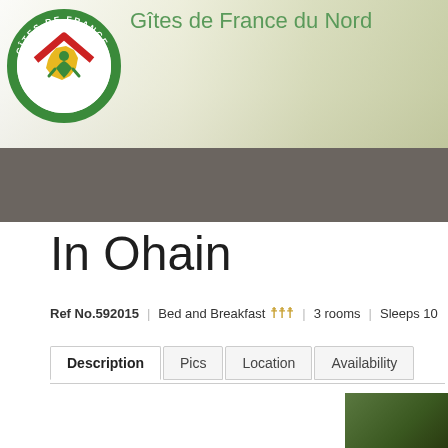[Figure (logo): Gîtes de France circular logo with green ring, red house roof outline, yellow map of France shape, and green figure. Text around ring reads GÎTES DE FRANCE.]
Gîtes de France du Nord
In Ohain
Ref No.592015  |  Bed and Breakfast ★★★  |  3 rooms  |  Sleeps 10
Description  |  Pics  |  Location  |  Availability